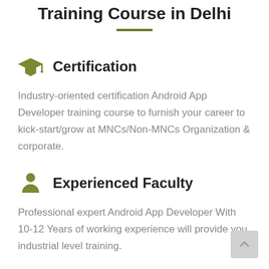Training Course in Delhi
Certification
Industry-oriented certification Android App Developer training course to furnish your career to kick-start/grow at MNCs/Non-MNCs Organization & corporate.
Experienced Faculty
Professional expert Android App Developer With 10-12 Years of working experience will provide you industrial level training.